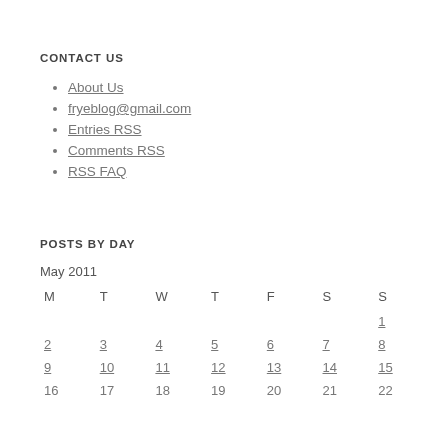CONTACT US
About Us
fryeblog@gmail.com
Entries RSS
Comments RSS
RSS FAQ
POSTS BY DAY
| M | T | W | T | F | S | S |
| --- | --- | --- | --- | --- | --- | --- |
|  |  |  |  |  |  | 1 |
| 2 | 3 | 4 | 5 | 6 | 7 | 8 |
| 9 | 10 | 11 | 12 | 13 | 14 | 15 |
| 16 | 17 | 18 | 19 | 20 | 21 | 22 |